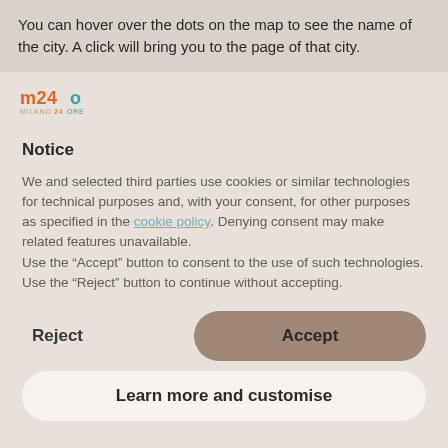You can hover over the dots on the map to see the name of the city. A click will bring you to the page of that city.
[Figure (logo): m24o Milano24Ore logo in orange and teal colors]
Notice
We and selected third parties use cookies or similar technologies for technical purposes and, with your consent, for other purposes as specified in the cookie policy. Denying consent may make related features unavailable.
Use the “Accept” button to consent to the use of such technologies. Use the “Reject” button to continue without accepting.
Reject
Accept
Learn more and customise